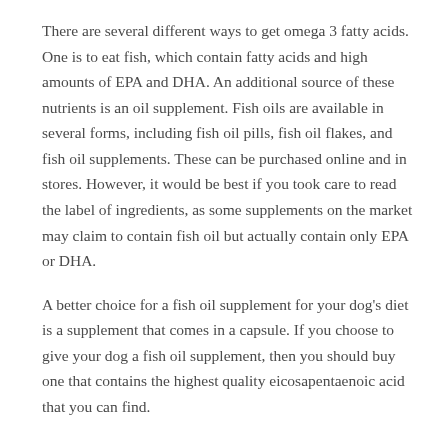There are several different ways to get omega 3 fatty acids. One is to eat fish, which contain fatty acids and high amounts of EPA and DHA. An additional source of these nutrients is an oil supplement. Fish oils are available in several forms, including fish oil pills, fish oil flakes, and fish oil supplements. These can be purchased online and in stores. However, it would be best if you took care to read the label of ingredients, as some supplements on the market may claim to contain fish oil but actually contain only EPA or DHA.
A better choice for a fish oil supplement for your dog's diet is a supplement that comes in a capsule. If you choose to give your dog a fish oil supplement, then you should buy one that contains the highest quality eicosapentaenoic acid that you can find.